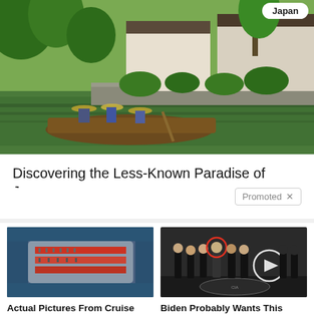[Figure (photo): People on a wooden boat on a canal in Japan, with lush green trees, stone walls, and traditional buildings in the background.]
Discovering the Less-Known Paradise of Japan
Promoted ×
[Figure (photo): Aerial photo of a cruise ship deck.]
Actual Pictures From Cruise Ships That Will Make You Think Twice Before Booking A Trip
🔥 106,927
[Figure (photo): Group of men in suits standing at what appears to be the CIA headquarters, with one man circled in red.]
Biden Probably Wants This Video Destroyed — Massive Currency Upheaval Has Started
🔥 207,087